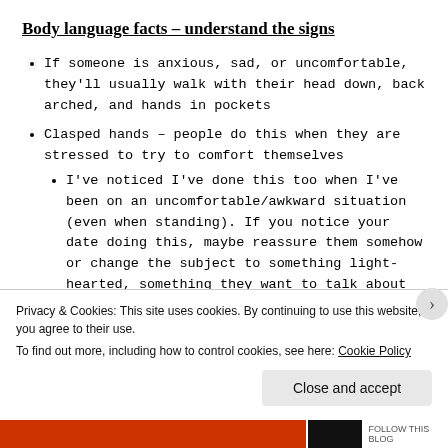Body language facts – understand the signs
If someone is anxious, sad, or uncomfortable, they'll usually walk with their head down, back arched, and hands in pockets
Clasped hands – people do this when they are stressed to try to comfort themselves
I've noticed I've done this too when I've been on an uncomfortable/awkward situation (even when standing). If you notice your date doing this, maybe reassure them somehow or change the subject to something light-hearted, something they want to talk about
Privacy & Cookies: This site uses cookies. By continuing to use this website, you agree to their use.
To find out more, including how to control cookies, see here: Cookie Policy
Close and accept